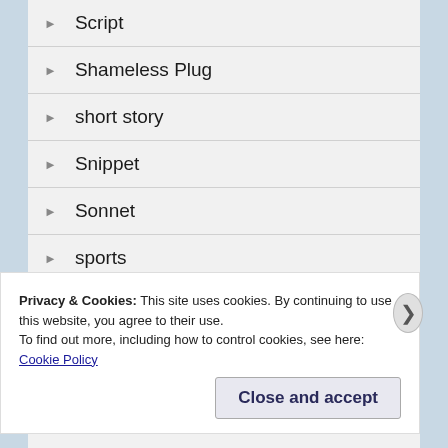Script
Shameless Plug
short story
Snippet
Sonnet
sports
story
Superhero
Privacy & Cookies: This site uses cookies. By continuing to use this website, you agree to their use.
To find out more, including how to control cookies, see here: Cookie Policy
Close and accept